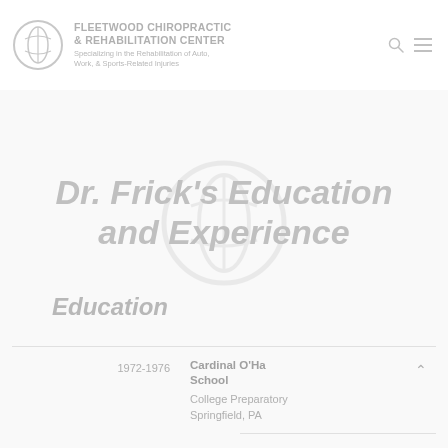FLEETWOOD CHIROPRACTIC & REHABILITATION CENTER
Specializing in the Rehabilitation of Auto, Work, & Sports-Related Injuries
Dr. Frick's Education and Experience
Education
1972-1976
Cardinal O'Ha School
College Preparatory
Springfield, PA